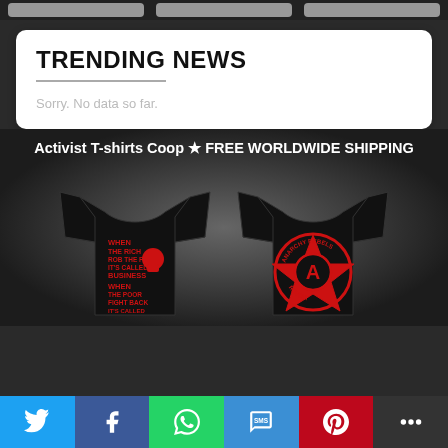TRENDING NEWS
Sorry. No data so far.
[Figure (illustration): Advertisement banner for Activist T-shirts Coop with two black t-shirts featuring red activist graphics on a dark background. Text reads: Activist T-shirts Coop ★ FREE WORLDWIDE SHIPPING]
Social share bar: Twitter, Facebook, WhatsApp, SMS, Pinterest, More